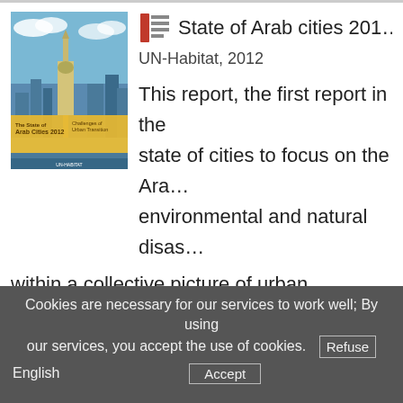[Figure (illustration): Book cover of 'The State of Arab Cities 2012 - Challenges of Urban Transition' published by UN-Habitat, showing a city skyline with a tall tower against a blue sky, with an orange/yellow banner across the middle.]
State of Arab cities 2012
UN-Habitat, 2012
This report, the first report in the state of cities to focus on the Arab world, addresses environmental and natural disasters within a collective picture of urban conditions and regions - Maghreb, Mashreq, Gulf Cooperative Council Tier. It provides a discussion of the similarities, differences between these countries in the context of a large
Cookies are necessary for our services to work well; By using our services, you accept the use of cookies.
English
Refuse
Accept